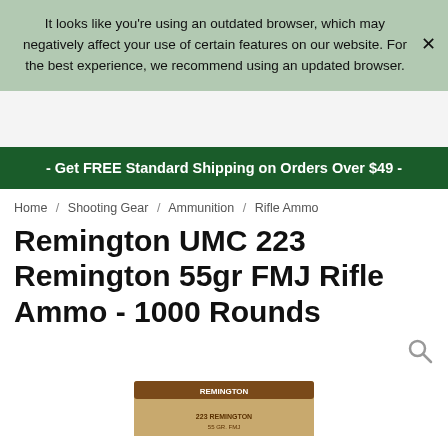It looks like you're using an outdated browser, which may negatively affect your use of certain features on our website. For the best experience, we recommend using an updated browser.
- Get FREE Standard Shipping on Orders Over $49 -
Home / Shooting Gear / Ammunition / Rifle Ammo
Remington UMC 223 Remington 55gr FMJ Rifle Ammo - 1000 Rounds
[Figure (photo): Partial view of a Remington UMC ammunition box at the bottom of the page]